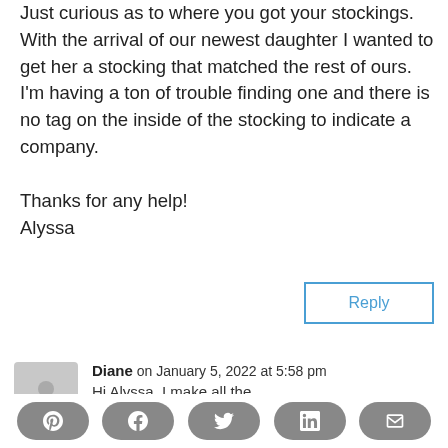Just curious as to where you got your stockings. With the arrival of our newest daughter I wanted to get her a stocking that matched the rest of ours. I'm having a ton of trouble finding one and there is no tag on the inside of the stocking to indicate a company.

Thanks for any help!
Alyssa
Reply
Diane on January 5, 2022 at 5:58 pm
Hi Alyssa, I make all the
[social share buttons: Pinterest, Facebook, Twitter, LinkedIn, Email]